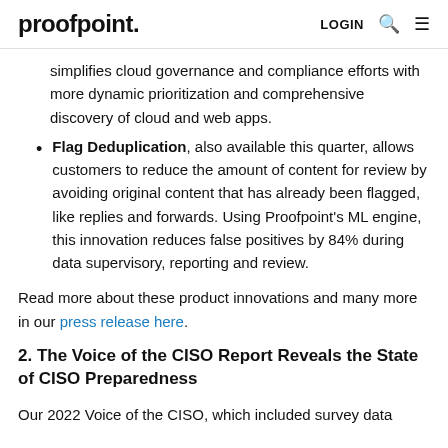proofpoint. LOGIN
simplifies cloud governance and compliance efforts with more dynamic prioritization and comprehensive discovery of cloud and web apps.
Flag Deduplication, also available this quarter, allows customers to reduce the amount of content for review by avoiding original content that has already been flagged, like replies and forwards. Using Proofpoint's ML engine, this innovation reduces false positives by 84% during data supervisory, reporting and review.
Read more about these product innovations and many more in our press release here.
2. The Voice of the CISO Report Reveals the State of CISO Preparedness
Our 2022 Voice of the CISO, which included survey data